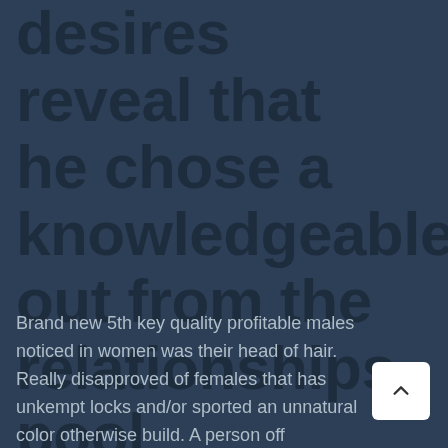desires reveal that he chose a knowledgeable out from the relationships pool
Brand new 5th key quality profitable males noticed in women was their head of hair. Really disapproved of females that has unkempt locks and/or sported an unnatural color otherwise build. A person off prominence try less than ongoing analysis,